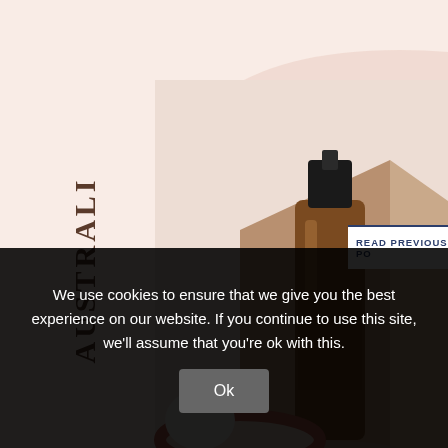[Figure (illustration): Australian skincare advertisement with an arch shape, curved text reading AUSTRALIAN SKINCARE, a photo of a brown glass dropper bottle next to geometric props on a pink-beige background, a SPECIAL PROMO button, and ORDER NOW heading.]
READ PREVIOUS PO
We use cookies to ensure that we give you the best experience on our website. If you continue to use this site, we'll assume that you're ok with this.
Ok